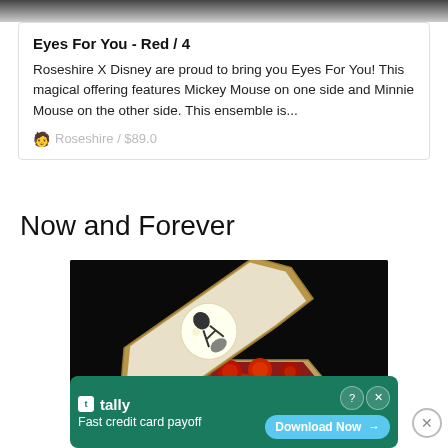[Figure (photo): Dark gray textured top strip, partial view of background]
Eyes For You - Red / 4
Roseshire X Disney are proud to bring you Eyes For You! This magical offering features Mickey Mouse on one side and Minnie Mouse on the other side. This ensemble is...
Roseshire / $89.0
Now and Forever
[Figure (photo): A coffin-shaped box open, displaying red roses inside and a Nightmare Before Christmas themed illustration on the lid, against a black background. Disney branding visible.]
[Figure (other): Tally ad banner - green background with tally logo, text 'Fast credit card payoff', Download Now button, close buttons]